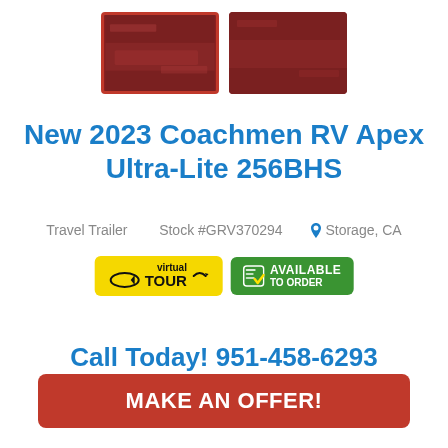[Figure (photo): Two thumbnail images of RV interior: left thumbnail is selected (red border) with '+1' overlay, right thumbnail shows '360°' icon on dark red background]
New 2023 Coachmen RV Apex Ultra-Lite 256BHS
Travel Trailer   Stock #GRV370294   Storage, CA
[Figure (other): Two badges: 'virtual TOUR' badge in yellow and 'AVAILABLE TO ORDER' badge in green]
Call Today! 951-458-6293
MAKE AN OFFER!